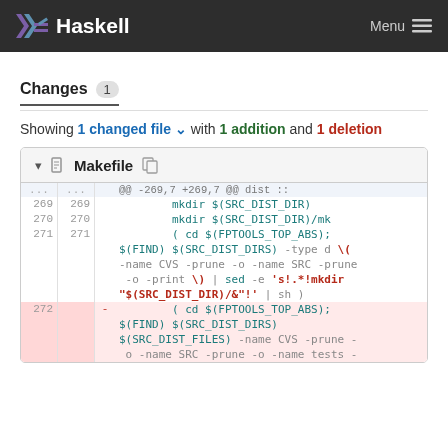Haskell   Menu
Changes 1
Showing 1 changed file with 1 addition and 1 deletion
| old | new | sign | code |
| --- | --- | --- | --- |
| ... | ... |  | @@ -269,7 +269,7 @@ dist :: |
| 269 | 269 |  |         mkdir $(SRC_DIST_DIR) |
| 270 | 270 |  |         mkdir $(SRC_DIST_DIR)/mk |
| 271 | 271 |  |         ( cd $(FPTOOLS_TOP_ABS); |
|  |  |  | $(FIND) $(SRC_DIST_DIRS) -type d \( |
|  |  |  | -name CVS -prune -o -name SRC -prune |
|  |  |  |  -o -print \) | sed -e 's!.*!mkdir |
|  |  |  | "$(SRC_DIST_DIR)/&"!' | sh ) |
| 272 |  | - |         ( cd $(FPTOOLS_TOP_ABS); |
|  |  |  | $(FIND) $(SRC_DIST_DIRS) |
|  |  |  | $(SRC_DIST_FILES) -name CVS -prune - |
|  |  |  |  o -name SRC -prune -o -name tests - |